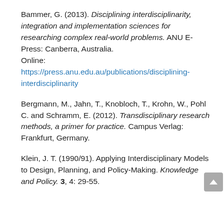Bammer, G. (2013). Disciplining interdisciplinarity, integration and implementation sciences for researching complex real-world problems. ANU E-Press: Canberra, Australia.
Online: https://press.anu.edu.au/publications/disciplining-interdisciplinarity
Bergmann, M., Jahn, T., Knobloch, T., Krohn, W., Pohl C. and Schramm, E. (2012). Transdisciplinary research methods, a primer for practice. Campus Verlag: Frankfurt, Germany.
Klein, J. T. (1990/91). Applying Interdisciplinary Models to Design, Planning, and Policy-Making. Knowledge and Policy. 3, 4: 29-55.